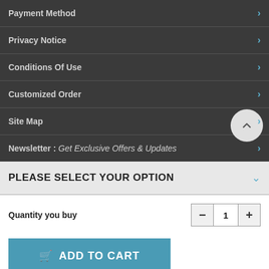Payment Method
Privacy Notice
Conditions Of Use
Customized Order
Site Map
Newsletter : Get Exclusive Offers & Updates
PLEASE SELECT YOUR OPTION
Quantity you buy
ADD TO CART